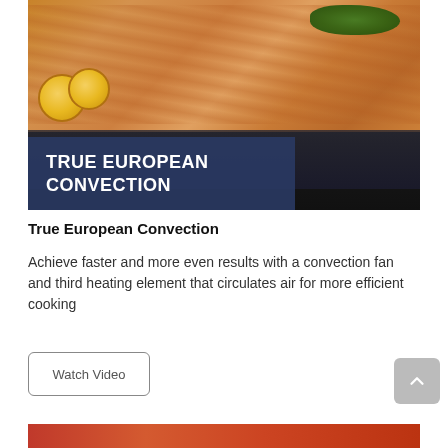[Figure (photo): Salmon fillets with lemon slices and herbs on an oven rack, with overlay text reading TRUE EUROPEAN CONVECTION on a dark navy background]
True European Convection
Achieve faster and more even results with a convection fan and third heating element that circulates air for more efficient cooking
Watch Video
[Figure (photo): Partial bottom image strip visible at the bottom of the page]